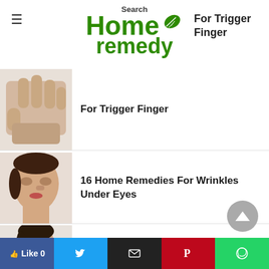Search Home Remedy
For Trigger Finger
[Figure (photo): Hand with finger bent/trigger finger condition]
16 Home Remedies For Wrinkles Under Eyes
[Figure (photo): Woman applying cream under her eyes]
8 Home Remedies For Neuralgia
[Figure (photo): Woman holding her face in pain]
Like 0 | Twitter | Email | Pinterest | WhatsApp